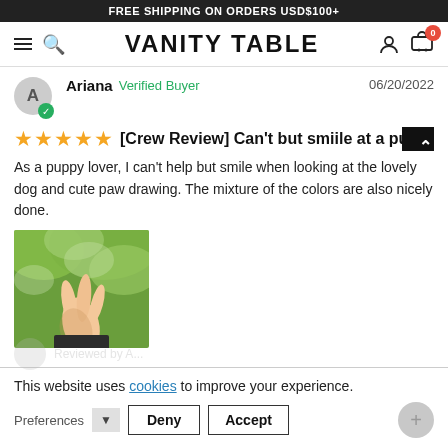FREE SHIPPING ON ORDERS USD$100+
[Figure (screenshot): Vanity Table website navigation bar with hamburger menu, search icon, brand name VANITY TABLE, user icon, and cart icon with badge showing 0]
Ariana  Verified Buyer  06/20/2022
[Crew Review] Can't but smiile at a puppy
As a puppy lover, I can't help but smile when looking at the lovely dog and cute paw drawing. The mixture of the colors are also nicely done.
[Figure (photo): Photo of a hand reaching up toward green trees]
This website uses cookies to improve your experience.
Preferences  Deny  Accept